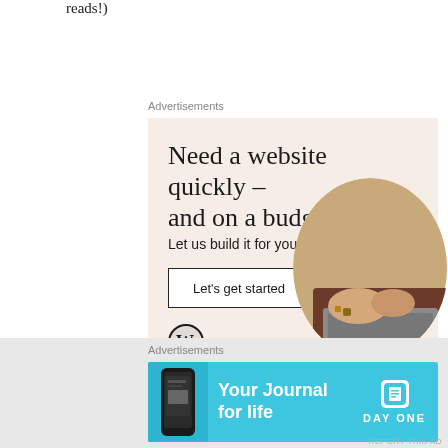reads!)
Advertisements
[Figure (illustration): WordPress advertisement: 'Need a website quickly – and on a budget? Let us build it for you' with a 'Let's get started' button, WordPress logo, and a circular photo of hands typing on a laptop. Beige/cream background.]
REPORT THIS AD
SHARE THIS:
Advertisements
[Figure (illustration): Day One journal app advertisement banner. Cyan/blue background with text 'Your Journal for life' and Day ONE logo with app icon on right side. Phone image on left side.]